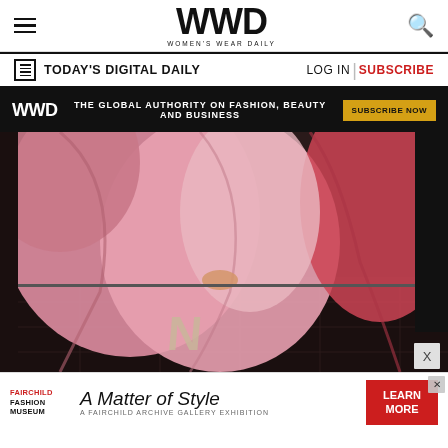WWD — Women's Wear Daily
TODAY'S DIGITAL DAILY  |  LOG IN  |  SUBSCRIBE
[Figure (infographic): WWD black banner ad: 'THE GLOBAL AUTHORITY ON FASHION, BEAUTY AND BUSINESS' with 'SUBSCRIBE NOW' gold button]
[Figure (photo): Fashion editorial photo: person in large voluminous pink/mauve satin gown draped over stairs with dark tile floor, red fabric accent, New Balance logo visible on floor]
[Figure (infographic): Fairchild Fashion Museum ad: 'A Matter of Style — A Fairchild Archive Gallery Exhibition' with red 'LEARN MORE' button and X close icon]